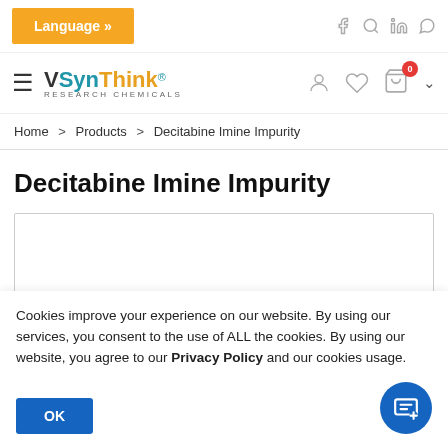Language »
[Figure (logo): SynThink Research Chemicals logo with hamburger menu icon]
Home > Products > Decitabine Imine Impurity
Decitabine Imine Impurity
Cookies improve your experience on our website. By using our services, you consent to the use of ALL the cookies. By using our website, you agree to our Privacy Policy and our cookies usage.
OK